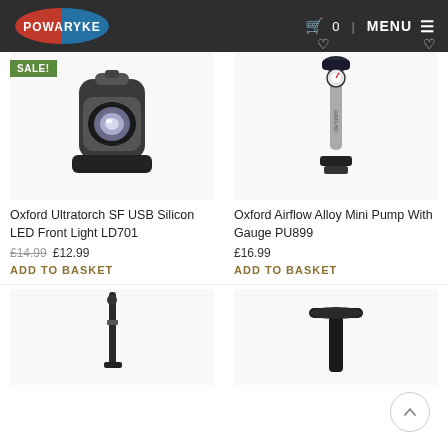POWARYKE | 0 | MENU
[Figure (photo): Oxford Ultratorch SF USB Silicon LED Front Light LD701 with SALE badge]
[Figure (photo): Oxford Airflow Alloy Mini Pump With Gauge PU899]
Oxford Ultratorch SF USB Silicon LED Front Light LD701
£14.99 £12.99
ADD TO BASKET
Oxford Airflow Alloy Mini Pump With Gauge PU899
£16.99
ADD TO BASKET
[Figure (photo): Partial view of a black bike pump tool at bottom left]
[Figure (photo): Partial view of a black T-bar tool at bottom right]